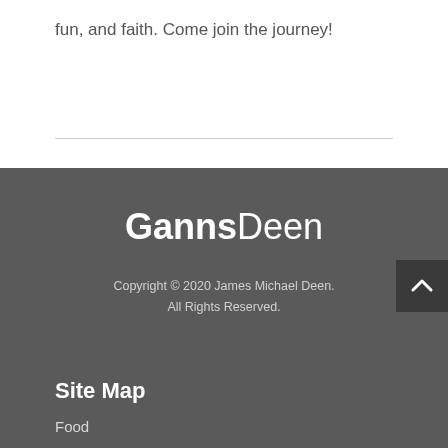fun, and faith. Come join the journey!
GannsDeen
Copyright © 2020 James Michael Deen.
All Rights Reserved.
Site Map
Food
Encouragement
Music
Comedy